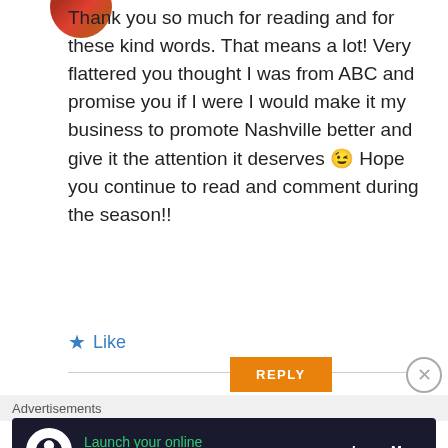[Figure (photo): Partial avatar image at top left, circular profile picture partially visible]
Thank you so much for reading and for these kind words. That means a lot! Very flattered you thought I was from ABC and promise you if I were I would make it my business to promote Nashville better and give it the attention it deserves 😉 Hope you continue to read and comment during the season!!
★ Like
REPLY
Advertisements
[Figure (infographic): Advertisement banner: dark background with WordPress online course ad, green text 'Launch your online course with WordPress', Learn More link in white]